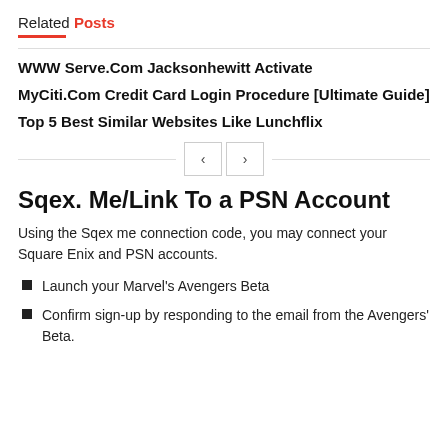Related Posts
WWW Serve.Com Jacksonhewitt Activate
MyCiti.Com Credit Card Login Procedure [Ultimate Guide]
Top 5 Best Similar Websites Like Lunchflix
Sqex. Me/Link To a PSN Account
Using the Sqex me connection code, you may connect your Square Enix and PSN accounts.
Launch your Marvel's Avengers Beta
Confirm sign-up by responding to the email from the Avengers' Beta.